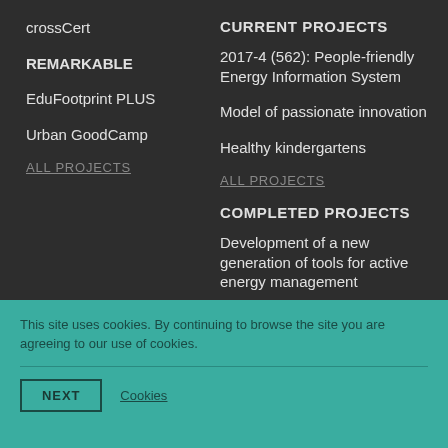crossCert
REMARKABLE
EduFootprint PLUS
Urban GoodCamp
ALL PROJECTS
CURRENT PROJECTS
2017-4 (562): People-friendly Energy Information System
Model of passionate innovation
Healthy kindergartens
ALL PROJECTS
COMPLETED PROJECTS
Development of a new generation of tools for active energy management in buildings
Flight path RUARDI
Green Faculty of Humanities of UL
This site uses cookies. By continuing to browse the site you are agreeing to our use of cookies.
NEXT
Cookies